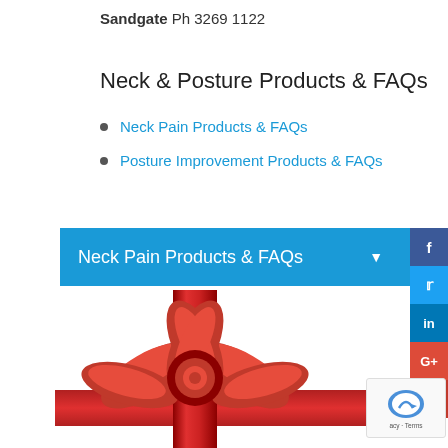Sandgate Ph 3269 1122
Neck & Posture Products & FAQs
Neck Pain Products & FAQs
Posture Improvement Products & FAQs
Neck Pain Products & FAQs
[Figure (photo): Red gift ribbon bow with horizontal red ribbon strip]
[Figure (other): reCAPTCHA widget with robot icon and privacy/terms text]